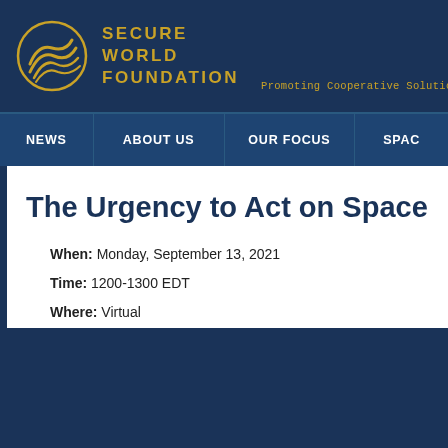SECURE WORLD FOUNDATION — Promoting Cooperative Solutions
NEWS | ABOUT US | OUR FOCUS | SPAC
The Urgency to Act on Space Traffi…
When: Monday, September 13, 2021
Time: 1200-1300 EDT
Where: Virtual